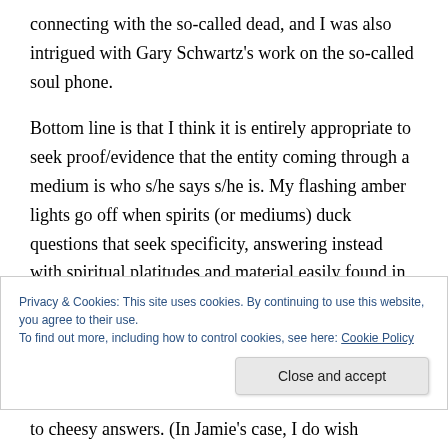connecting with the so-called dead, and I was also intrigued with Gary Schwartz's work on the so-called soul phone.
Bottom line is that I think it is entirely appropriate to seek proof/evidence that the entity coming through a medium is who s/he says s/he is. My flashing amber lights go off when spirits (or mediums) duck questions that seek specificity, answering instead with spiritual platitudes and material easily found in books about spirituality.
Privacy & Cookies: This site uses cookies. By continuing to use this website, you agree to their use.
To find out more, including how to control cookies, see here: Cookie Policy
Close and accept
to cheesy answers. (In Jamie's case, I do wish